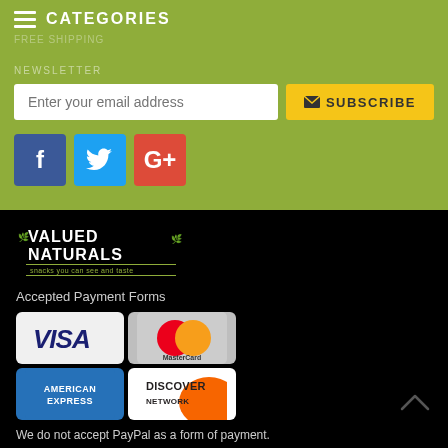CATEGORIES
Enter your email address
SUBSCRIBE
[Figure (logo): Social media icons: Facebook (f), Twitter (bird), Google+ (G+)]
[Figure (logo): Valued Naturals logo with green leaf underline and tagline]
Accepted Payment Forms
[Figure (infographic): Payment method icons: Visa, MasterCard, American Express, Discover Network]
We do not accept PayPal as a form of payment.